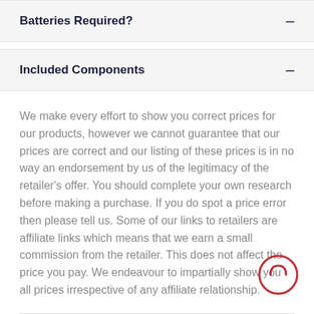Batteries Required? –
Included Components –
We make every effort to show you correct prices for our products, however we cannot guarantee that our prices are correct and our listing of these prices is in no way an endorsement by us of the legitimacy of the retailer's offer. You should complete your own research before making a purchase. If you do spot a price error then please tell us. Some of our links to retailers are affiliate links which means that we earn a small commission from the retailer. This does not affect the price you pay. We endeavour to impartially show you all prices irrespective of any affiliate relationship.
Products with Subscriptions